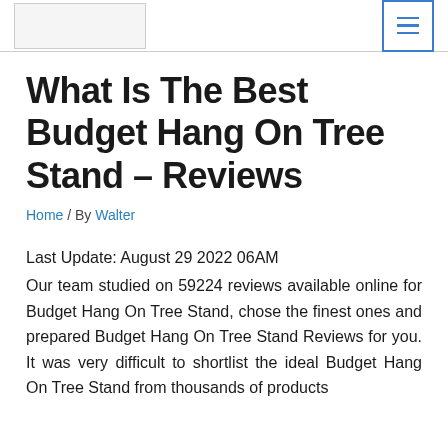[logo] [menu button]
What Is The Best Budget Hang On Tree Stand – Reviews
Home / By Walter
Last Update: August 29 2022 06AM
Our team studied on 59224 reviews available online for Budget Hang On Tree Stand, chose the finest ones and prepared Budget Hang On Tree Stand Reviews for you. It was very difficult to shortlist the ideal Budget Hang On Tree Stand from thousands of products